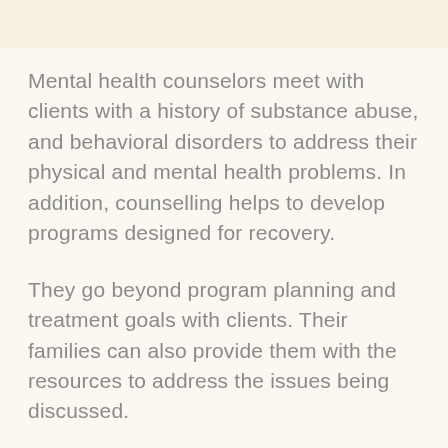Mental health counselors meet with clients with a history of substance abuse, and behavioral disorders to address their physical and mental health problems. In addition, counselling helps to develop programs designed for recovery.
They go beyond program planning and treatment goals with clients. Their families can also provide them with the resources to address the issues being discussed.
Mental health counselors inform clients and their families about addiction problems or behavioral